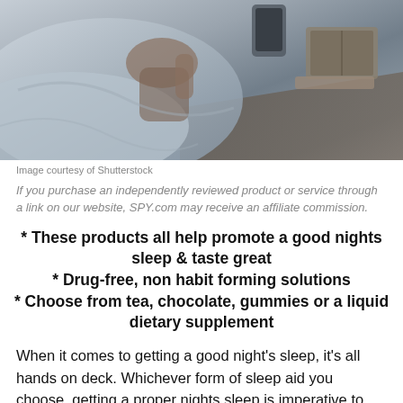[Figure (photo): Person lying in bed with grey sheets, viewed from above, with a book visible in the background]
Image courtesy of Shutterstock
If you purchase an independently reviewed product or service through a link on our website, SPY.com may receive an affiliate commission.
* These products all help promote a good nights sleep & taste great
* Drug-free, non habit forming solutions
* Choose from tea, chocolate, gummies or a liquid dietary supplement
When it comes to getting a good night's sleep, it's all hands on deck. Whichever form of sleep aid you choose, getting a proper nights sleep is imperative to peak physical and cognitive performance. Lack of sleep can influence your attitude, energy levels and